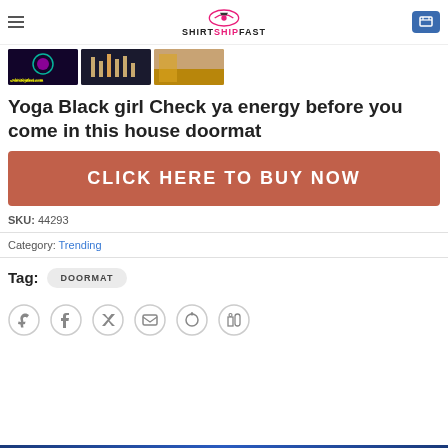SHIRTSHIPFAST
[Figure (screenshot): Three product thumbnail images side by side, first with shirtshipfast.com label on dark background]
Yoga Black girl Check ya energy before you come in this house doormat
[Figure (other): CLICK HERE TO BUY NOW button in terracotta/rust color]
SKU: 44293
Category: Trending
Tag: DOORMAT
[Figure (other): Social share icons: WhatsApp, Facebook, Twitter, Email, Pinterest, LinkedIn]